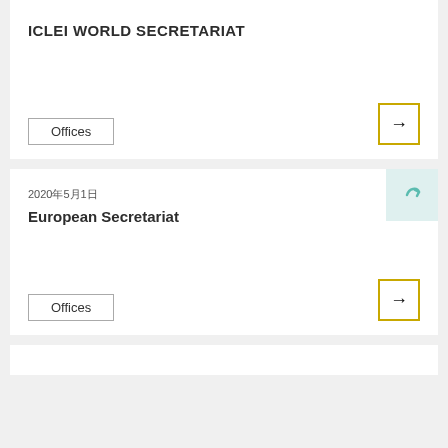ICLEI WORLD SECRETARIAT
Offices
2020年5月1日
European Secretariat
Offices